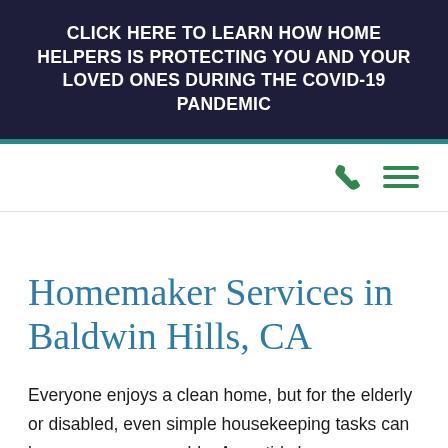CLICK HERE TO LEARN HOW HOME HELPERS IS PROTECTING YOU AND YOUR LOVED ONES DURING THE COVID-19 PANDEMIC
[Figure (other): Navigation bar with phone icon and hamburger menu icon in green]
Homemaker Services in Baldwin Hills, CA
Everyone enjoys a clean home, but for the elderly or disabled, even simple housekeeping tasks can become unmanageable. An untidy home can contribute to feelings of depression, isolation, and hopelessness – it can even be dangerous.